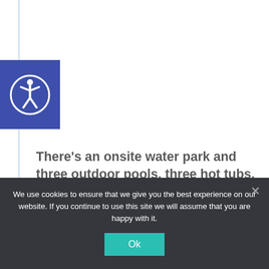[Figure (logo): Accessibility icon - white person figure in circle on blue/purple square background]
There’s an onsite water park and three outdoor pools, three hot tubs, two fire pits, plus a gym and a day spa.
The Resort has three restaurants, 2 bars, and other amenities, including a game room, putt-putt golf, zipline, and a children’s playground. The mid-mountain pool has a bar also. There is
We use cookies to ensure that we give you the best experience on our website. If you continue to use this site we will assume that you are happy with it.
Ok